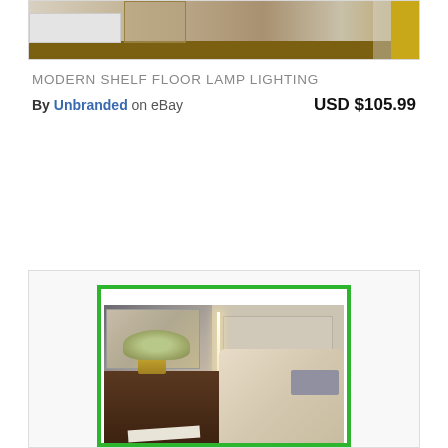[Figure (photo): Top portion of a product listing image showing a room with a floor lamp, wooden furniture, yellow curtain, and hardwood floor]
MODERN SHELF FLOOR LAMP LIGHTING
By Unbranded on eBay USD $105.99
[Figure (photo): Product image of a modern floor lamp in a bedroom/living room setting, showing a tall slim lamp with vertical LED strip lighting, next to an armchair and decorative console table with plant. Image has a green border frame.]